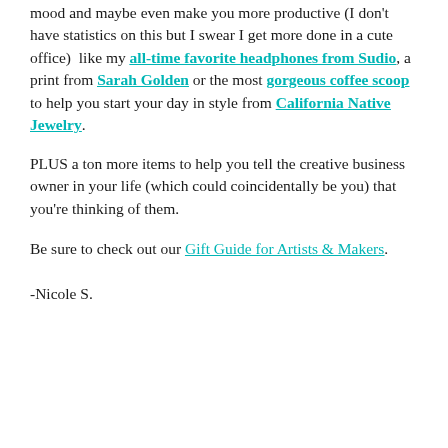mood and maybe even make you more productive (I don't have statistics on this but I swear I get more done in a cute office)  like my all-time favorite headphones from Sudio, a print from Sarah Golden or the most gorgeous coffee scoop to help you start your day in style from California Native Jewelry.
PLUS a ton more items to help you tell the creative business owner in your life (which could coincidentally be you) that you're thinking of them.
Be sure to check out our Gift Guide for Artists & Makers.
-Nicole S.